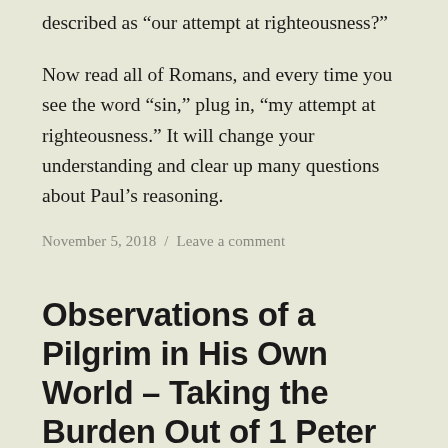described as “our attempt at righteousness?”
Now read all of Romans, and every time you see the word “sin,” plug in, “my attempt at righteousness.” It will change your understanding and clear up many questions about Paul’s reasoning.
November 5, 2018 / Leave a comment
Observations of a Pilgrim in His Own World – Taking the Burden Out of 1 Peter